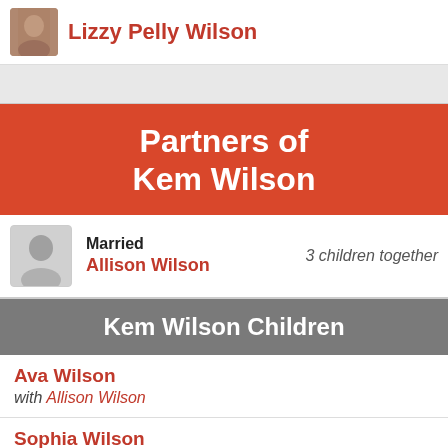Lizzy Pelly Wilson
Partners of Kem Wilson
Married
Allison Wilson
3 children together
Kem Wilson Children
Ava Wilson
with Allison Wilson
Sophia Wilson
with Allison Wilson